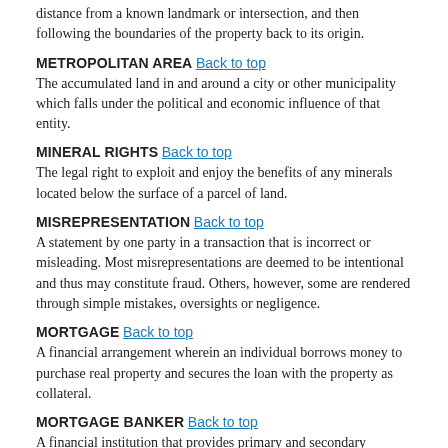distance from a known landmark or intersection, and then following the boundaries of the property back to its origin.
METROPOLITAN AREA
The accumulated land in and around a city or other municipality which falls under the political and economic influence of that entity.
MINERAL RIGHTS
The legal right to exploit and enjoy the benefits of any minerals located below the surface of a parcel of land.
MISREPRESENTATION
A statement by one party in a transaction that is incorrect or misleading. Most misrepresentations are deemed to be intentional and thus may constitute fraud. Others, however, some are rendered through simple mistakes, oversights or negligence.
MORTGAGE
A financial arrangement wherein an individual borrows money to purchase real property and secures the loan with the property as collateral.
MORTGAGE BANKER
A financial institution that provides primary and secondary mortgages to home buyers.
MORTGAGE BROKER
A person or organization that serves as a middleman to facilitate the mortgage process. Brokers often represent multiple mortgage bankers and offer the most